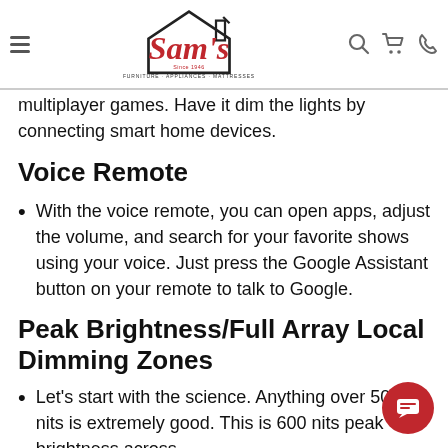Sam's Furniture · Appliances · Mattresses — navigation header
multiplayer games. Have it dim the lights by connecting smart home devices.
Voice Remote
With the voice remote, you can open apps, adjust the volume, and search for your favorite shows using your voice. Just press the Google Assistant button on your remote to talk to Google.
Peak Brightness/Full Array Local Dimming Zones
Let's start with the science. Anything over 500 nits is extremely good. This is 600 nits peak brightness across